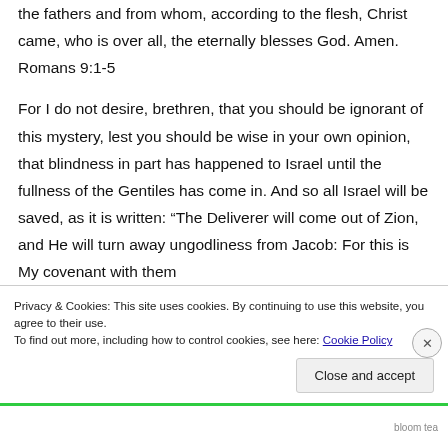the fathers and from whom, according to the flesh, Christ came, who is over all, the eternally blesses God. Amen. Romans 9:1-5
For I do not desire, brethren, that you should be ignorant of this mystery, lest you should be wise in your own opinion, that blindness in part has happened to Israel until the fullness of the Gentiles has come in. And so all Israel will be saved, as it is written: “The Deliverer will come out of Zion, and He will turn away ungodliness from Jacob: For this is My covenant with them
Privacy & Cookies: This site uses cookies. By continuing to use this website, you agree to their use.
To find out more, including how to control cookies, see here: Cookie Policy
Close and accept